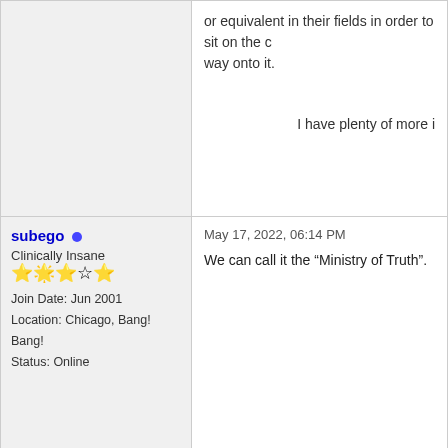or equivalent in their fields in order to sit on the c... way onto it.
I have plenty of more i...
subego · Clinically Insane · Join Date: Jun 2001 · Location: Chicago, Bang! Bang! · Status: Online
May 17, 2022, 06:14 PM
We can call it the “Ministry of Truth”.
OreoCookie · Moderator · Join Date: May 2001 · Location: Hilbert space · Status: Offline
May 17, 2022, 06:50 PM
Originally Posted by subego
We can call it the “Ministry of Truth”.
Come on, that’s a cheap shot.
The idea isn’t new. E. g. the Challenger Disaster... other countries, this is common, too. Germany’s Service (wissenschaftlicher Dienst). Parliamenta... summarize the scientific state of the art. For othe... science from different fields and argue about wha...